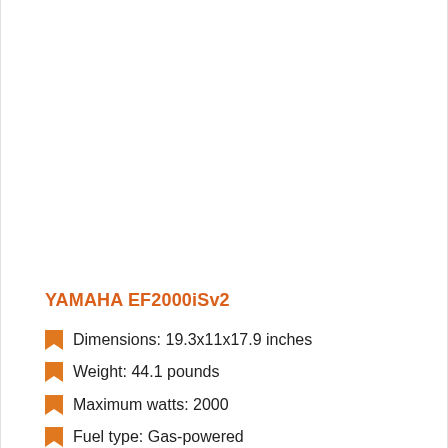YAMAHA EF2000iSv2
Dimensions: 19.3x11x17.9 inches
Weight: 44.1 pounds
Maximum watts: 2000
Fuel type: Gas-powered